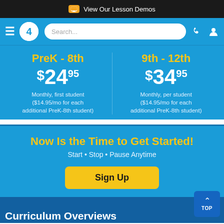View Our Lesson Demos
[Figure (screenshot): Navigation bar with hamburger menu, logo '4', search box, phone icon, and user icon on blue background]
PreK - 8th
$24.95
Monthly, first student ($14.95/mo for each additional PreK-8th student)
9th - 12th
$34.95
Monthly, per student ($14.95/mo for each additional PreK-8th student)
Now Is the Time to Get Started!
Start • Stop • Pause Anytime
Sign Up
Curriculum Overviews